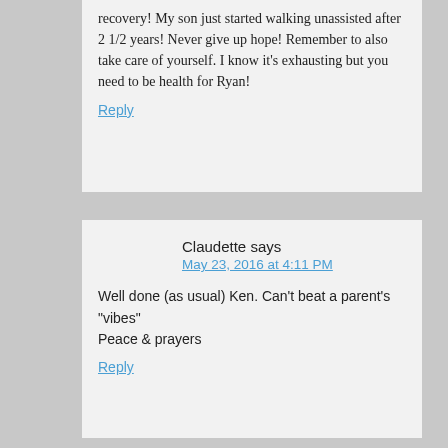recovery! My son just started walking unassisted after 2 1/2 years! Never give up hope! Remember to also take care of yourself. I know it's exhausting but you need to be health for Ryan!
Reply
Claudette says
May 23, 2016 at 4:11 PM
Well done (as usual) Ken. Can't beat a parent's "vibes"
Peace & prayers
Reply